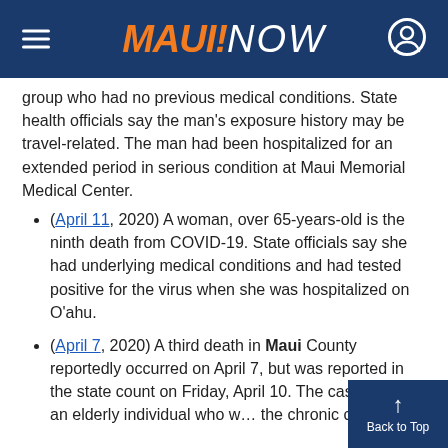MAUI NOW
group who had no previous medical conditions. State health officials say the man's exposure history may be travel-related. The man had been hospitalized for an extended period in serious condition at Maui Memorial Medical Center.
(April 11, 2020) A woman, over 65-years-old is the ninth death from COVID-19. State officials say she had underlying medical conditions and had tested positive for the virus when she was hospitalized on O‘ahu.
(April 7, 2020) A third death in Maui County reportedly occurred on April 7, but was reported in the state count on Friday, April 10. The case involved an elderly individual who was in the chronic care unit.